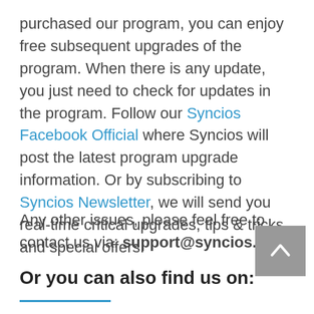purchased our program, you can enjoy free subsequent upgrades of the program. When there is any update, you just need to check for updates in the program. Follow our Syncios Facebook Official where Syncios will post the latest program upgrade information. Or by subscribing to Syncios Newsletter, we will send you real-time critical upgrades, tips & tricks and special offers.
Any other issues, please feel free to contact us via: support@syncios.com
Or you can also find us on: